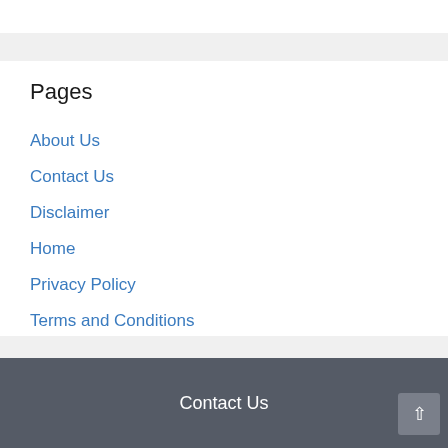Pages
About Us
Contact Us
Disclaimer
Home
Privacy Policy
Terms and Conditions
Contact Us